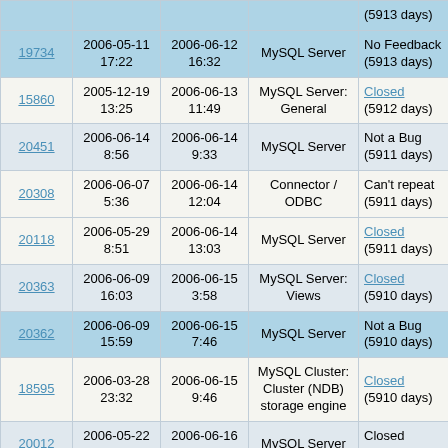| ID | Created | Updated | Category | Status | S |
| --- | --- | --- | --- | --- | --- |
|  |  |  |  | (5913 days) |  |
| 19734 | 2006-05-11 17:22 | 2006-06-12 16:32 | MySQL Server | No Feedback (5913 days) | S5 |
| 15860 | 2005-12-19 13:25 | 2006-06-13 11:49 | MySQL Server: General | Closed (5912 days) | S1 |
| 20451 | 2006-06-14 8:56 | 2006-06-14 9:33 | MySQL Server | Not a Bug (5911 days) | S2 |
| 20308 | 2006-06-07 5:36 | 2006-06-14 12:04 | Connector / ODBC | Can't repeat (5911 days) | S1 |
| 20118 | 2006-05-29 8:51 | 2006-06-14 13:03 | MySQL Server | Closed (5911 days) | S3 |
| 20363 | 2006-06-09 16:03 | 2006-06-15 3:58 | MySQL Server: Views | Closed (5910 days) | S1 |
| 20362 | 2006-06-09 15:59 | 2006-06-15 7:46 | MySQL Server | Not a Bug (5910 days) | S2 |
| 18595 | 2006-03-28 23:32 | 2006-06-15 9:46 | MySQL Cluster: Cluster (NDB) storage engine | Closed (5910 days) | S2 |
| 20012 | 2006-05-22 22:42 | 2006-06-16 12:30 | MySQL Server | Closed (5909 days) | S1 |